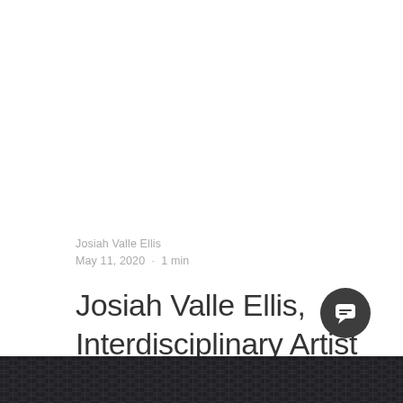Josiah Valle Ellis
May 11, 2020 · 1 min
Josiah Valle Ellis, Interdisciplinary Artist
[Figure (photo): Dark woven textile or basket material visible at the bottom of the page]